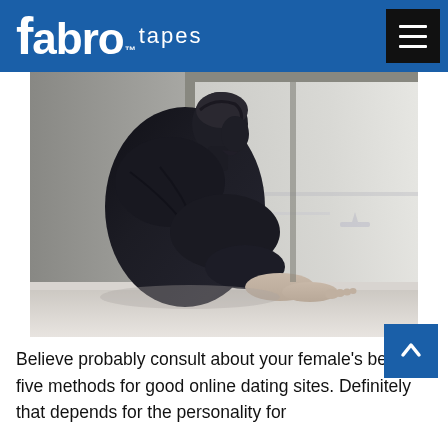fabro™ tapes
[Figure (photo): A young man sitting alone by a window, viewed from the side/back, knees drawn up, barefoot, wearing dark clothes, in a contemplative or lonely pose. Natural light comes from the window.]
Believe probably consult about your female's best five methods for good online dating sites. Definitely that depends for the personality for